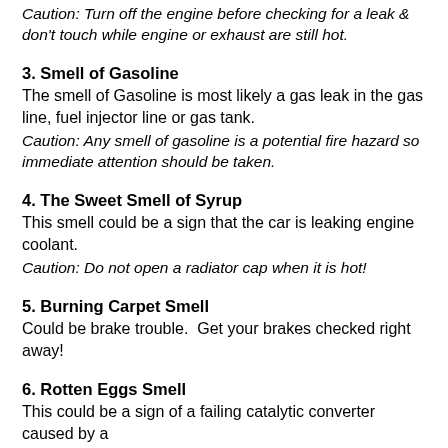Caution: Turn off the engine before checking for a leak & don't touch while engine or exhaust are still hot.
3. Smell of Gasoline
The smell of Gasoline is most likely a gas leak in the gas line, fuel injector line or gas tank.
Caution: Any smell of gasoline is a potential fire hazard so immediate attention should be taken.
4. The Sweet Smell of Syrup
This smell could be a sign that the car is leaking engine coolant.
Caution: Do not open a radiator cap when it is hot!
5. Burning Carpet Smell
Could be brake trouble.  Get your brakes checked right away!
6. Rotten Eggs Smell
This could be a sign of a failing catalytic converter caused by a